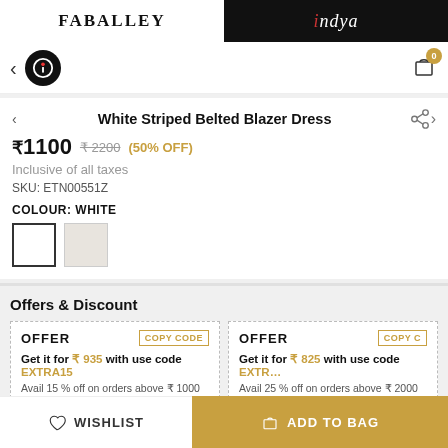FABALLEY | indya
White Striped Belted Blazer Dress
₹1100  ₹2200  (50% OFF)
Inclusive of all taxes
SKU: ETN00551Z
COLOUR: WHITE
Offers & Discount
OFFER
Get it for ₹ 935 with use code EXTRA15
Avail 15 % off on orders above ₹ 1000
OFFER
Get it for ₹ 825 with use code EXTRA...
Avail 25 % off on orders above ₹ 2000
WISHLIST  ADD TO BAG